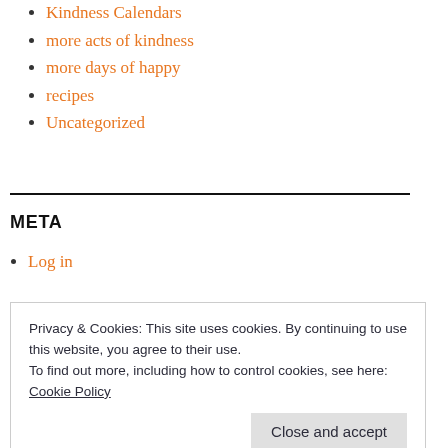Kindness Calendars
more acts of kindness
more days of happy
recipes
Uncategorized
META
Log in
Privacy & Cookies: This site uses cookies. By continuing to use this website, you agree to their use.
To find out more, including how to control cookies, see here:
Cookie Policy
Close and accept